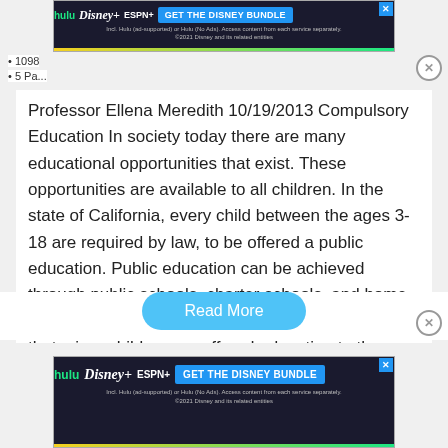[Figure (screenshot): Hulu Disney+ ESPN+ GET THE DISNEY BUNDLE advertisement banner at top of page]
1098
5 Pa...
Professor Ellena Meredith 10/19/2013 Compulsory Education In society today there are many educational opportunities that exist. These opportunities are available to all children. In the state of California, every child between the ages 3-18 are required by law, to be offered a public education. Public education can be achieved through public schools, charter schools, and home schooling. Parents are required by law to ensure that minor children are offered education to the age of 18 or graduation. “While…
Read More
[Figure (screenshot): Hulu Disney+ ESPN+ GET THE DISNEY BUNDLE advertisement banner at bottom of page]